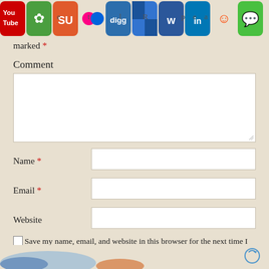[Figure (screenshot): Row of social media sharing icons at top: YouTube, Netvibes, StumbleUpon, Flickr, Digg, Delicious, Word, LinkedIn, Reddit, iMessage/chat, Facebook, Twitter, RSS]
marked *
Comment
[Figure (screenshot): Large empty comment textarea with resize handle]
Name *
[Figure (screenshot): Name text input field]
Email *
[Figure (screenshot): Email text input field]
Website
[Figure (screenshot): Website text input field]
Save my name, email, and website in this browser for the next time I comment.
[Figure (screenshot): Partial bottom section with blurred logo/image and a refresh/sync icon]